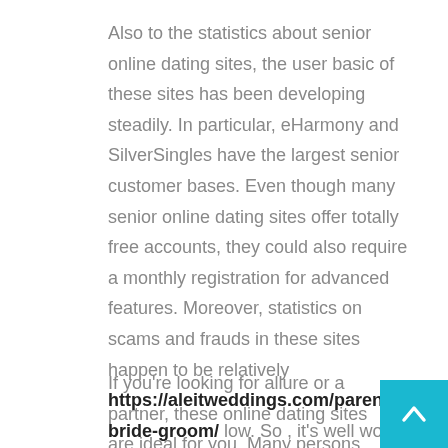Also to the statistics about senior online dating sites, the user basic of these sites has been developing steadily. In particular, eHarmony and SilverSingles have the largest senior customer bases. Even though many senior online dating sites offer totally free accounts, they could also require a monthly registration for advanced features. Moreover, statistics on scams and frauds in these sites happen to be relatively https://aleitweddings.com/parents-bride-groom/ low. So , it's well worth registering on one or maybe more of them, and you'll never be disappointed!
If you're looking for allure or a partner, these online dating sites are ideal for you. Many persons use